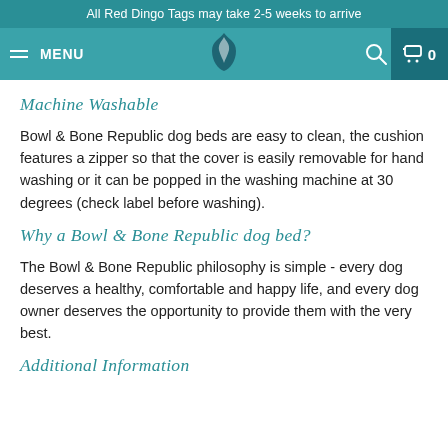All Red Dingo Tags may take 2-5 weeks to arrive
Machine Washable
Bowl & Bone Republic dog beds are easy to clean, the cushion features a zipper so that the cover is easily removable for hand washing or it can be popped in the washing machine at 30 degrees (check label before washing).
Why a Bowl & Bone Republic dog bed?
The Bowl & Bone Republic philosophy is simple - every dog deserves a healthy, comfortable and happy life, and every dog owner deserves the opportunity to provide them with the very best.
Additional Information